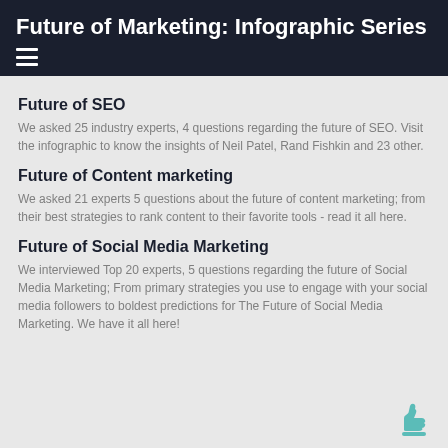Future of Marketing: Infographic Series
Future of SEO
We asked 25 industry experts, 4 questions regarding the future of SEO. Visit the infographic to know the insights of Neil Patel, Rand Fishkin and 23 other.
Future of Content marketing
We asked 21 experts 5 questions about the future of content marketing; from their best strategies to rank content to their favorite tools - read it all here.
Future of Social Media Marketing
We interviewed Top 20 experts, 5 questions regarding the future of Social Media Marketing; From primary strategies you use to engage with your social media followers to boldest predictions for The Future of Social Media Marketing. We have it all here!
[Figure (illustration): Thumbs up icon in teal color at bottom right corner]